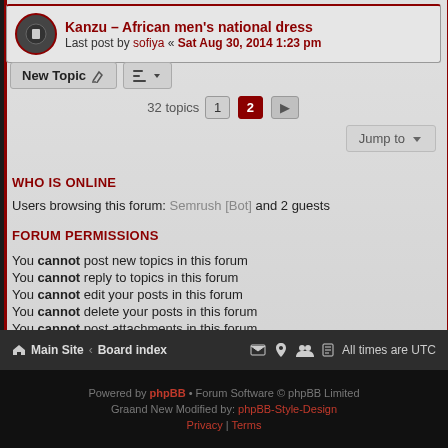Kanzu – African men's national dress — Last post by sofiya « Sat Aug 30, 2014 1:23 pm
New Topic | Sort | 32 topics | Page 1 | Page 2 | Next
Jump to
WHO IS ONLINE
Users browsing this forum: Semrush [Bot] and 2 guests
FORUM PERMISSIONS
You cannot post new topics in this forum
You cannot reply to topics in this forum
You cannot edit your posts in this forum
You cannot delete your posts in this forum
You cannot post attachments in this forum
Main Site · Board index | All times are UTC
Powered by phpBB • Forum Software © phpBB Limited — Graand New Modified by: phpBB-Style-Design — Privacy | Terms